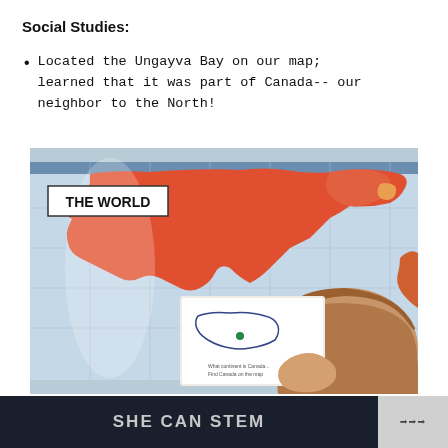Social Studies:
Located the Ungayva Bay on our map; learned that it was part of Canada-- our neighbor to the North!
[Figure (photo): A child holds up a hand-drawn map of Canada in front of a large 'THE WORLD' wall map showing red continents on a light blue background.]
SHE CAN STEM